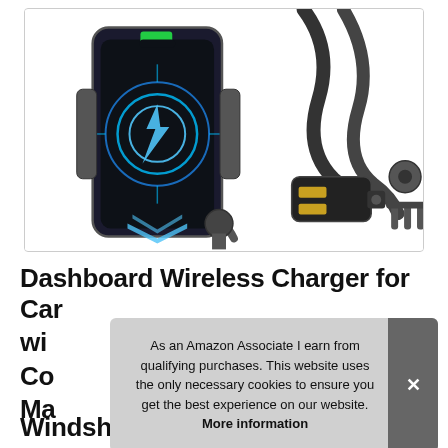[Figure (photo): Product photo of a wireless car charger phone mount with gooseneck arm, a dual USB car charger adapter, and a vent mount ball adapter, shown on white background with glowing blue wireless charging effect on the phone.]
Dashboard Wireless Charger for Car wi... Co... Ma... Windshield Phone Mount for Car
As an Amazon Associate I earn from qualifying purchases. This website uses the only necessary cookies to ensure you get the best experience on our website. More information